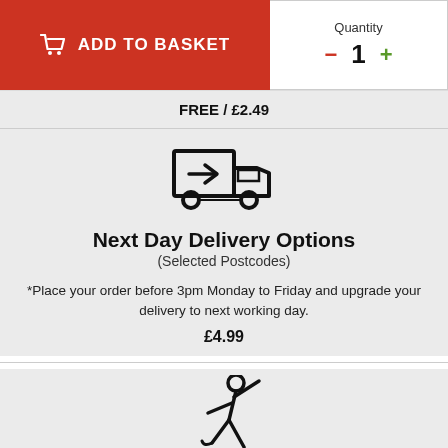ADD TO BASKET
Quantity  -  1  +
FREE / £2.49
[Figure (illustration): Delivery truck icon — outline drawing of a truck with an arrow pointing right on the cargo box]
Next Day Delivery Options
(Selected Postcodes)
*Place your order before 3pm Monday to Friday and upgrade your delivery to next working day.
£4.99
[Figure (illustration): Person icon — stick figure appearing to throw or lift something, partial view at bottom of page]